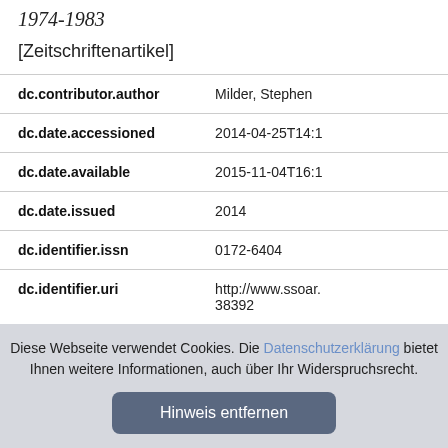1974-1983
[Zeitschriftenartikel]
| Field | Value |
| --- | --- |
| dc.contributor.author | Milder, Stephen |
| dc.date.accessioned | 2014-04-25T14:1 |
| dc.date.available | 2015-11-04T16:1 |
| dc.date.issued | 2014 |
| dc.identifier.issn | 0172-6404 |
| dc.identifier.uri | http://www.ssoar. 38392 |
| dc.description.abstract | "In the mid-1970s |
Diese Webseite verwendet Cookies. Die Datenschutzerklärung bietet Ihnen weitere Informationen, auch über Ihr Widerspruchsrecht.
Hinweis entfernen